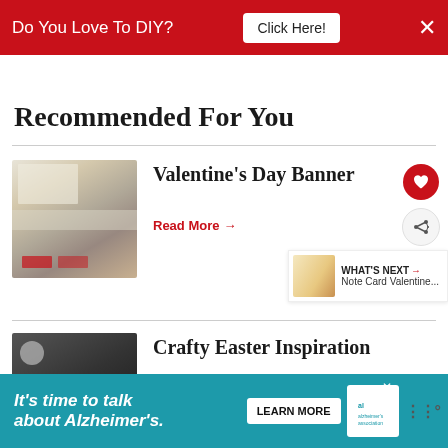Do You Love To DIY? Click Here!
Recommended For You
[Figure (photo): Kitchen with white cabinets and Valentine's Day decorations]
Valentine's Day Banner
Read More →
WHAT'S NEXT → Note Card Valentine...
[Figure (photo): Dark styled photo for Crafty Easter Inspiration]
Crafty Easter Inspiration
It's time to talk about Alzheimer's. LEARN MORE